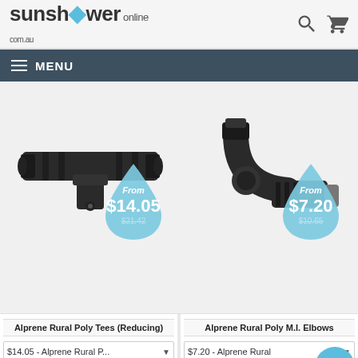sunshower online com.au
MENU
[Figure (photo): Black poly tee fitting (reducing) pipe connector with water drop price badge showing From $14.05, was $21.42]
Alprene Rural Poly Tees (Reducing)
$14.05 - Alprene Rural P...
- 1 +
[Figure (photo): Black poly M.I. elbow pipe fitting with water drop price badge showing From $7.20, was $10.65]
Alprene Rural Poly M.I. Elbows
$7.20 - Alprene Rural...
- 1 +